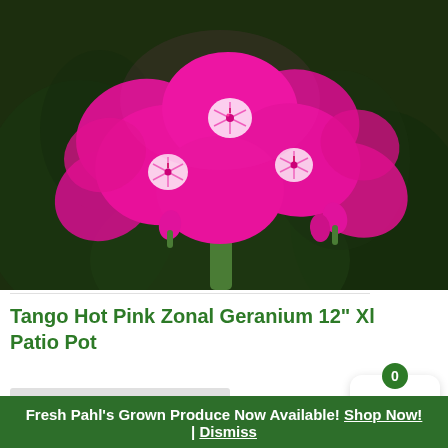[Figure (photo): Close-up photograph of bright hot pink zonal geranium flowers in full bloom against a dark green background. Multiple magenta-pink petals with white centers and red stamens are visible in a rounded cluster.]
Tango Hot Pink Zonal Geranium 12" Xl Patio Pot
Fresh Pahl's Grown Produce Now Available! Shop Now! | Dismiss